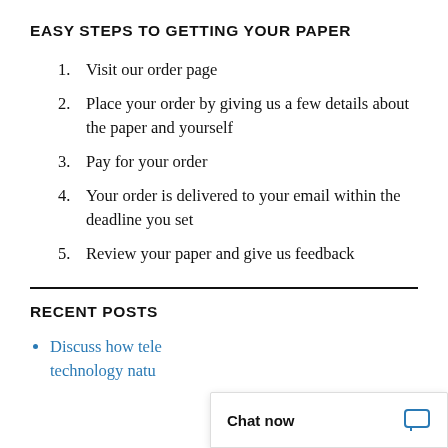EASY STEPS TO GETTING YOUR PAPER
Visit our order page
Place your order by giving us a few details about the paper and yourself
Pay for your order
Your order is delivered to your email within the deadline you set
Review your paper and give us feedback
RECENT POSTS
Discuss how tele technology natu